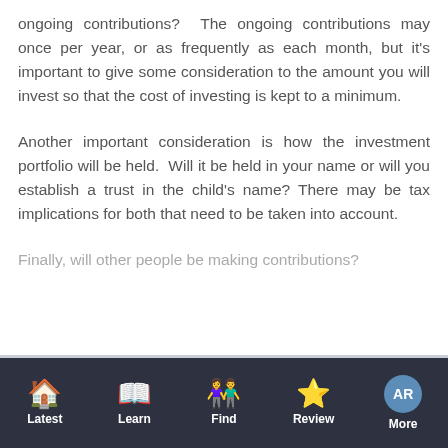ongoing contributions? The ongoing contributions may once per year, or as frequently as each month, but it's important to give some consideration to the amount you will invest so that the cost of investing is kept to a minimum.
Another important consideration is how the investment portfolio will be held. Will it be held in your name or will you establish a trust in the child's name? There may be tax implications for both that need to be taken into account.
Finally, will other people be making contributions?
Latest | Learn | Find | Review | More